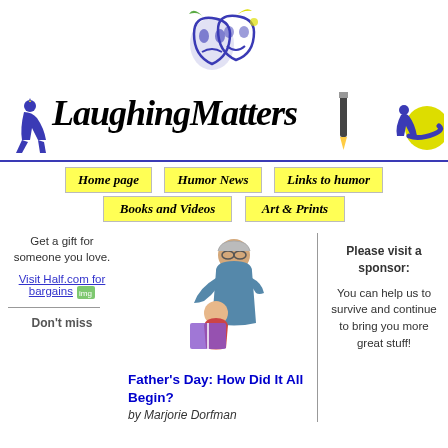[Figure (logo): Theater comedy/tragedy masks logo in blue, green, and yellow]
[Figure (logo): LaughingMatters site title in stylized cursive script with illustrated figures]
Home page
Humor News
Links to humor
Books and Videos
Art & Prints
Get a gift for someone you love.
[Figure (illustration): Illustration of elderly person reading to a child]
Please visit a sponsor:
You can help us to survive and continue to bring you more great stuff!
Visit Half.com for bargains
Father's Day: How Did It All Begin?
by Marjorie Dorfman
Don't miss